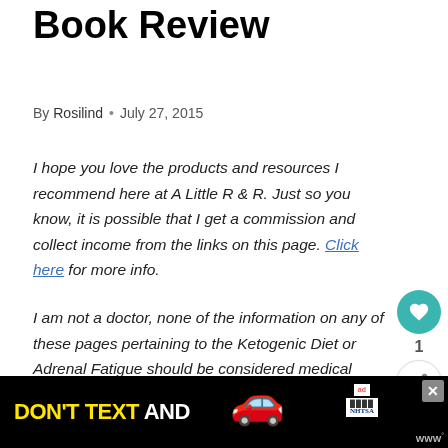Book Review
By Rosilind • July 27, 2015
I hope you love the products and resources I recommend here at A Little R & R. Just so you know, it is possible that I get a commission and collect income from the links on this page. Click here for more info.
I am not a doctor, none of the information on any of these pages pertaining to the Ketogenic Diet or Adrenal Fatigue should be considered medical advice and should not replace the care of your personal physician. I am simply eager to share the information I have learned while on my own journey to health. Before you
[Figure (other): Advertisement banner: DON'T TEXT AND [car emoji], with ad label and NHTSA logo]